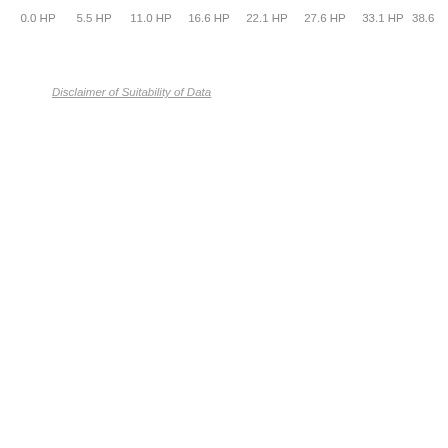0.0 HP   5.5 HP   11.0 HP   16.6 HP   22.1 HP   27.6 HP   33.1 HP   38.6 HP
Disclaimer of Suitability of Data